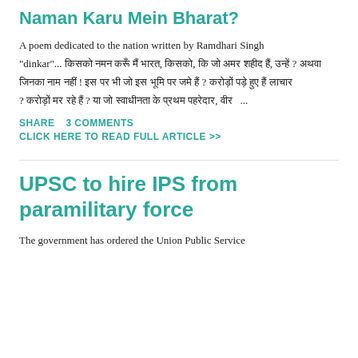Naman Karu Mein Bharat?
A poem dedicated to the nation written by Ramdhari Singh "dinkar"... किसको नमन करूँ मैं भारत, किसको, कि जो अमर शहीद हैं, उन्हें ? अथवा जिनका नाम नहीं ! इस पर भी जो इस भूमि पर जमे हैं ? करोड़ों पड़े हुए हैं लाचार ? करोड़ों मर रहे हैं ? या जो स्वाधीनता के प्रथम पहरेदार, वीर ...
SHARE    3 COMMENTS
CLICK HERE TO READ FULL ARTICLE >>
UPSC to hire IPS from paramilitary force
The government has ordered the Union Public Service